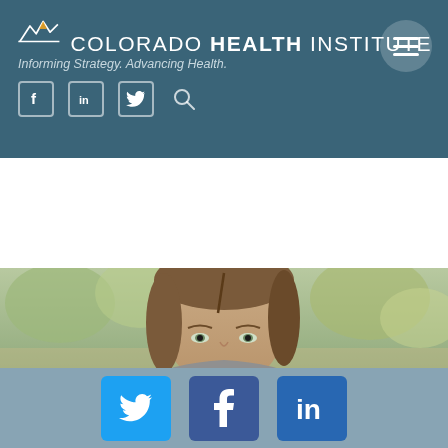Colorado Health Institute — Informing Strategy. Advancing Health.
[Figure (photo): Headshot of a young woman with straight brown hair, light eyes, photographed outdoors with blurred greenery background]
Social sharing icons: Twitter, Facebook, LinkedIn